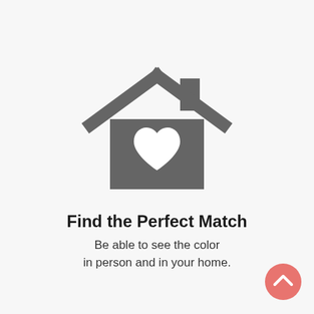[Figure (illustration): A gray house icon with a white heart shape in the center of the house body, with a chimney on the upper right of the roof.]
Find the Perfect Match
Be able to see the color
in person and in your home.
[Figure (other): A pink/salmon circular button with a white upward-pointing chevron arrow, positioned in the bottom-right corner.]